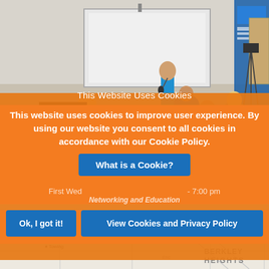[Figure (photo): Classroom/meeting room photo showing people seated at tables facing a presenter standing at the front near a projection screen. A camera on tripod is visible on the right side.]
This Website Uses Cookies
This website uses cookies to improve user experience. By using our website you consent to all cookies in accordance with our Cookie Policy.
What is a Cookie?
First Wednesday of the Month 5:30 pm - 7:00 pm
Membership Meetings
Networking and Education
Ok, I got it!
View Cookies and Privacy Policy
[Figure (map): Street map showing Berkeley Heights area with street names including Snyder, Dunning, Towing, Berkeley Heights visible.]